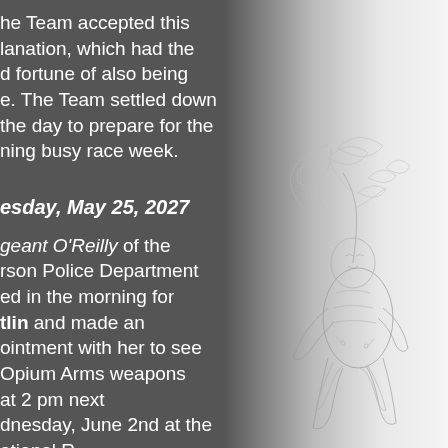he Team accepted this lanation, which had the d fortune of also being e. The Team settled down the day to prepare for the ning busy race week.
esday, May 25, 2027
geant O'Reilly of the rson Police Department ed in the morning for tlin and made an ointment with her to see Opium Arms weapons at 2 pm next dnesday, June 2nd at the
[Figure (illustration): Pencil sketch illustration of a stylized creature or figure with flowing elements, rendered in light grey lines on a lighter background, positioned in the right portion of the page.]